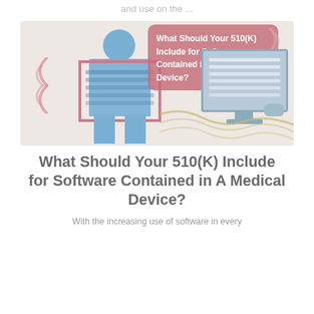and use on the ...
[Figure (illustration): Infographic showing a blue human figure holding a tablet/book connected by wavy lines to a desktop computer with a book on screen, with a pink speech bubble overlay reading 'What Should Your 510(K) Include for Software Contained in A Medical Device?' and WiFi arcs on both sides.]
What Should Your 510(K) Include for Software Contained in A Medical Device?
With the increasing use of software in every